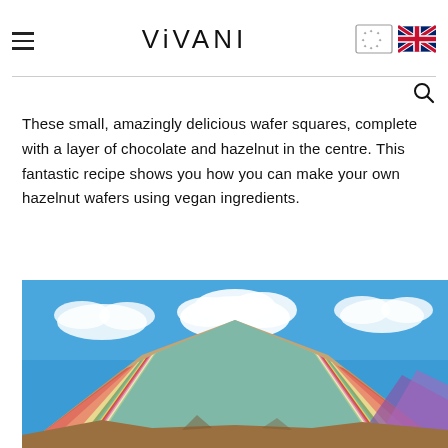VIVANI
These small, amazingly delicious wafer squares, complete with a layer of chocolate and hazelnut in the centre. This fantastic recipe shows you how you can make your own hazelnut wafers using vegan ingredients.
[Figure (photo): Colorful rainbow mountain (Vinicunca, Peru) with layered red, yellow, green, and pink mineral striped slopes under a blue sky with white clouds.]